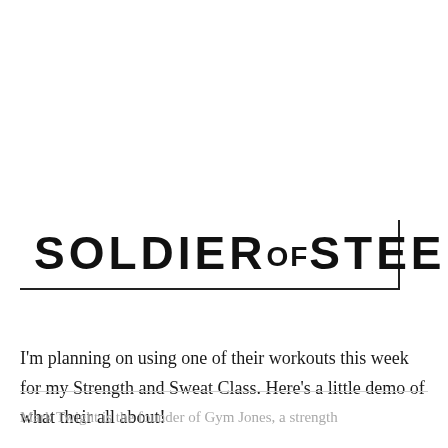[Figure (logo): SOLDIER OF STEEL trademark logo in bold black sans-serif lettering with a border on the bottom and right sides]
I'm planning on using one of their workouts this week for my Strength and Sweat Class. Here's a little demo of what their all about!
Mark Twight is the founder of Gym Jones, a strength